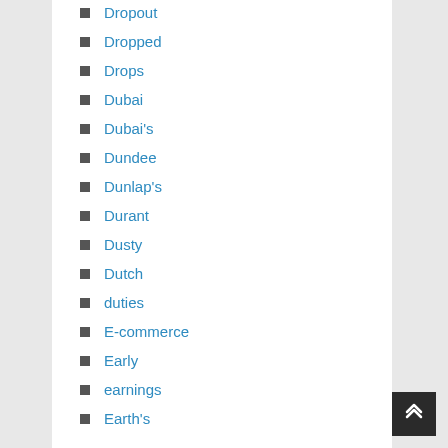Dropout
Dropped
Drops
Dubai
Dubai's
Dundee
Dunlap's
Durant
Dusty
Dutch
duties
E-commerce
Early
earnings
Earth's